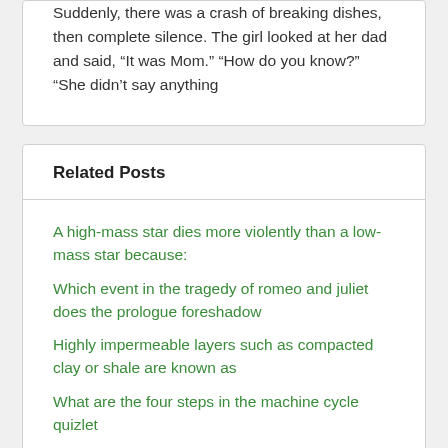Suddenly, there was a crash of breaking dishes, then complete silence. The girl looked at her dad and said, “It was Mom.” “How do you know?” “She didn’t say anything
Related Posts
A high-mass star dies more violently than a low-mass star because:
Which event in the tragedy of romeo and juliet does the prologue foreshadow
Highly impermeable layers such as compacted clay or shale are known as
What are the four steps in the machine cycle quizlet